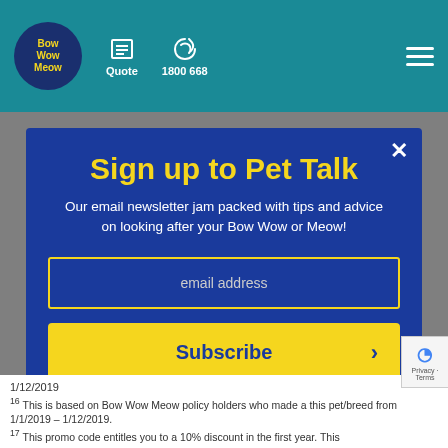Bow Wow Meow | Quote | 1800 668
Sign up to Pet Talk
Our email newsletter jam packed with tips and advice on looking after your Bow Wow or Meow!
email address
Subscribe
1/12/2019
16 This is based on Bow Wow Meow policy holders who made a this pet/breed from 1/1/2019 – 1/12/2019.
17 This promo code entitles you to a 10% discount in the first year. This